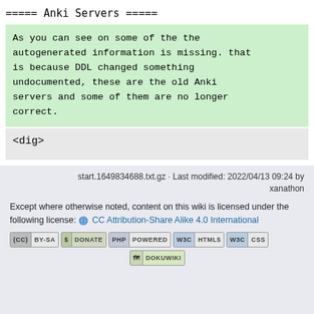===== Anki Servers =====
As you can see on some of the the autogenerated information is missing. that is because DDL changed something undocumented, these are the old Anki servers and some of them are no longer correct.
<dig>
start.1649834688.txt.gz · Last modified: 2022/04/13 09:24 by xanathon
Except where otherwise noted, content on this wiki is licensed under the following license: 🌐 CC Attribution-Share Alike 4.0 International